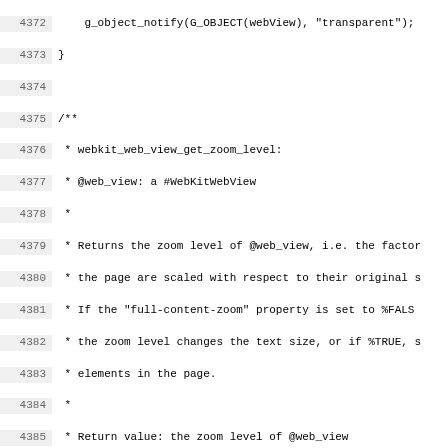Source code listing lines 4372-4403 showing webkit_web_view_get_zoom_level and webkit_web_view_apply_zoom_level functions in C